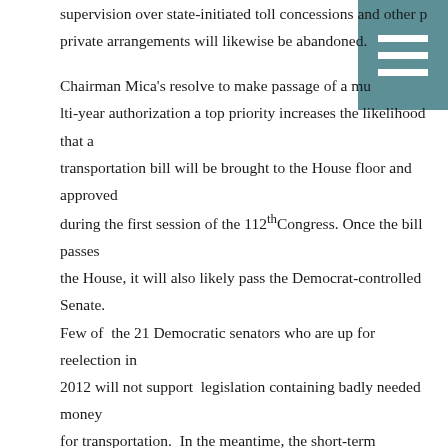supervision over state-initiated toll concessions and other private arrangements will likewise be abandoned.

Chairman Mica's resolve to make passage of a multi-year authorization a top priority increases the likelihood that a transportation bill will be brought to the House floor and approved during the first session of the 112th Congress. Once the bill passes the House, it will also likely pass the Democrat-controlled Senate. Few of the 21 Democratic senators who are up for reelection in 2012 will not support legislation containing badly needed money for transportation. In the meantime, the short-term extension of the surface transportation program that expires March 4 will once again have to be extended. House Budget Committee chairman Paul Ryan (R-WI) will be authorized to set a ceiling on spending for the rest of the fiscal year.

This, in essence, is how informed opinion appears to view the